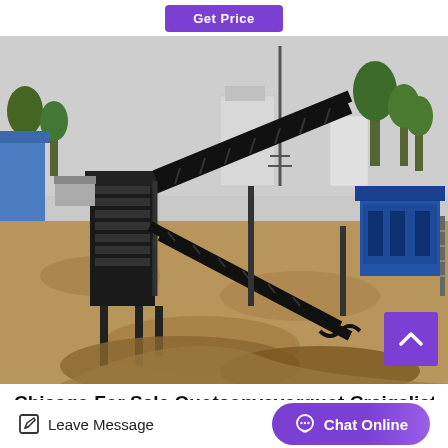[Figure (other): Get Price button at top of page]
[Figure (photo): Outdoor industrial sand/aggregate processing and conveyor belt equipment on a construction or mining site, with buildings and trees in the background]
Chicago For Sale Quotconveyorquot Craigslist
Leave Message
Chat Online